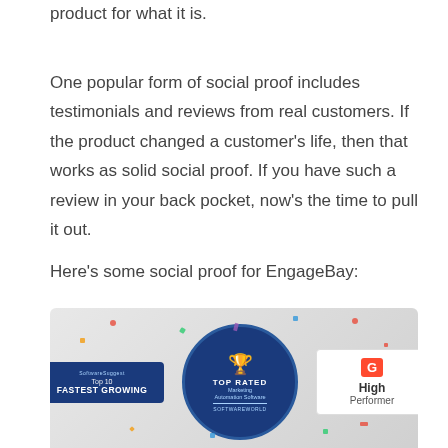product for what it is.
One popular form of social proof includes testimonials and reviews from real customers. If the product changed a customer's life, then that works as solid social proof. If you have such a review in your back pocket, now's the time to pull it out.
Here's some social proof for EngageBay:
[Figure (infographic): Awards banner showing EngageBay recognition: SoftwareSuggest Top 10 Fastest Growing badge, SoftwareWorld Top Rated Marketing Automation Software badge (circular), and G2 High Performer badge, all on a light gray confetti background.]